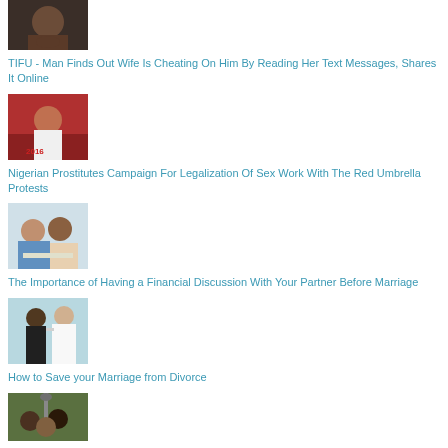[Figure (photo): Close-up of a man's face smiling]
TIFU - Man Finds Out Wife Is Cheating On Him By Reading Her Text Messages, Shares It Online
[Figure (photo): Woman in white shirt with arms raised at a protest]
Nigerian Prostitutes Campaign For Legalization Of Sex Work With The Red Umbrella Protests
[Figure (photo): Two people looking at documents together]
The Importance of Having a Financial Discussion With Your Partner Before Marriage
[Figure (photo): Man in black suit kicking away from woman in wedding dress]
How to Save your Marriage from Divorce
[Figure (photo): Group of people outdoors near a street lamp]